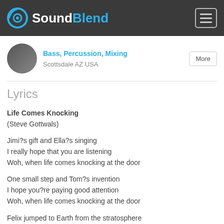SoundBlend
Bass, Percussion, Mixing
Scottsdale AZ USA
Lyrics
Life Comes Knocking
(Steve Gottwals)

Jimi?s gift and Ella?s singing
I really hope that you are listening
Woh, when life comes knocking at the door

One small step and Tom?s invention
I hope you?re paying good attention
Woh, when life comes knocking at the door

Felix jumped to Earth from the stratosphere
Woh, when facing certain fear
Cause life came knocking at the door

Way up high upon a wire